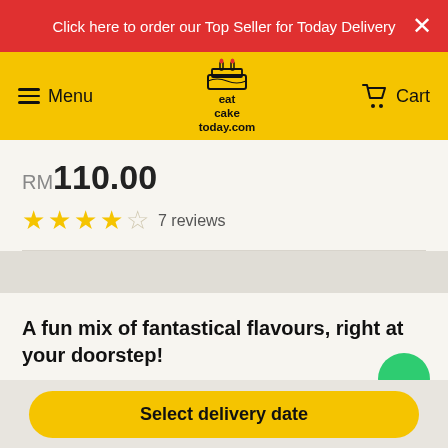Click here to order our Top Seller for Today Delivery
Menu | eatcaketoday.com | Cart
RM110.00
7 reviews
A fun mix of fantastical flavours, right at your doorstep!
Select delivery date